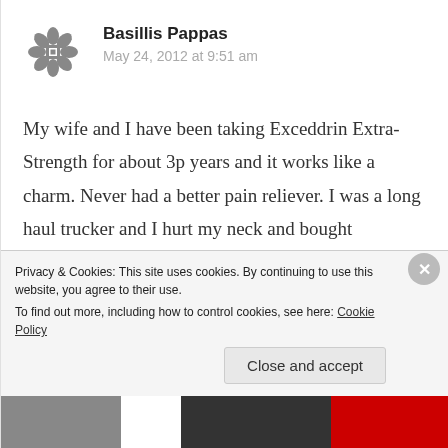[Figure (illustration): Gray decorative snowflake/geometric avatar icon for user Basillis Pappas]
Basillis Pappas
May 24, 2012 at 9:51 am
My wife and I have been taking Exceddrin Extra-Strength for about 3p years and it works like a charm. Never had a better pain reliever. I was a long haul trucker and I hurt my neck and bought Exceddrin for the pain so I cojuld return home. It relieved the pain all the way from Indiana to Massachusetts;
Privacy & Cookies: This site uses cookies. By continuing to use this website, you agree to their use.
To find out more, including how to control cookies, see here: Cookie Policy
Close and accept